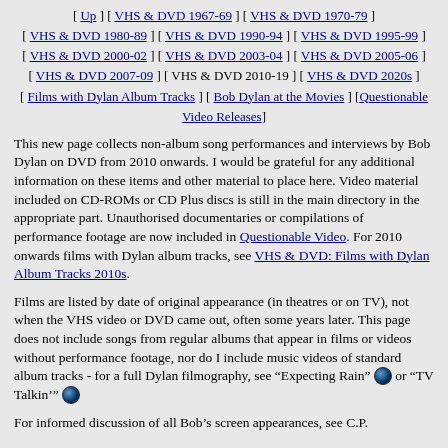[ Up ] [ VHS & DVD 1967-69 ] [ VHS & DVD 1970-79 ] [ VHS & DVD 1980-89 ] [ VHS & DVD 1990-94 ] [ VHS & DVD 1995-99 ] [ VHS & DVD 2000-02 ] [ VHS & DVD 2003-04 ] [ VHS & DVD 2005-06 ] [ VHS & DVD 2007-09 ] [ VHS & DVD 2010-19 ] [ VHS & DVD 2020s ] [ Films with Dylan Album Tracks ] [ Bob Dylan at the Movies ] [ Questionable Video Releases ]
This new page collects non-album song performances and interviews by Bob Dylan on DVD from 2010 onwards. I would be grateful for any additional information on these items and other material to place here. Video material included on CD-ROMs or CD Plus discs is still in the main directory in the appropriate part. Unauthorised documentaries or compilations of performance footage are now included in Questionable Video. For 2010 onwards films with Dylan album tracks, see VHS & DVD: Films with Dylan Album Tracks 2010s.
Films are listed by date of original appearance (in theatres or on TV), not when the VHS video or DVD came out, often some years later. This page does not include songs from regular albums that appear in films or videos without performance footage, nor do I include music videos of standard album tracks - for a full Dylan filmography, see "Expecting Rain" [globe] or "TV Talkin'" [globe]
For informed discussion of all Bob's screen appearances, see C.P.